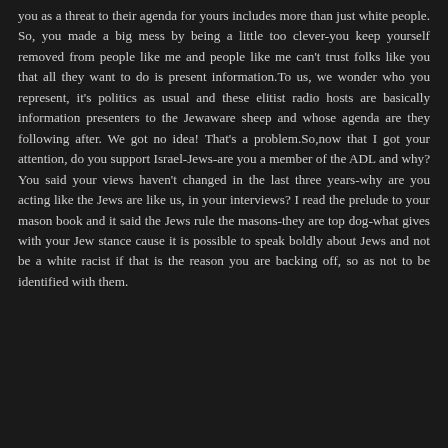you as a threat to their agenda for yours includes more than just white people. So, you made a big mess by being a little too clever-you keep yourself removed from people like me and people like me can't trust folks like you that all they want to do is present information.To us, we wonder who you represent, it's politics as usual and these elitist radio hosts are basically information presenters to the Jewaware sheep and whose agenda are they following after. We got no idea! That's a problem.So,now that I got your attention, do you support Israel-Jews-are you a member of the ADL and why? You said your views haven't changed in the last three years-why are you acting like the Jews are like us, in your interviews? I read the prelude to your mason book and it said the Jews rule the masons-they are top dog-what gives with your Jew stance cause it is possible to speak boldly about Jews and not be a white racist if that is the reason you are backing off, so as not to be identified with them.
Reply
Anonymous  July 8, 2014 at 4:02 PM
Johnny,